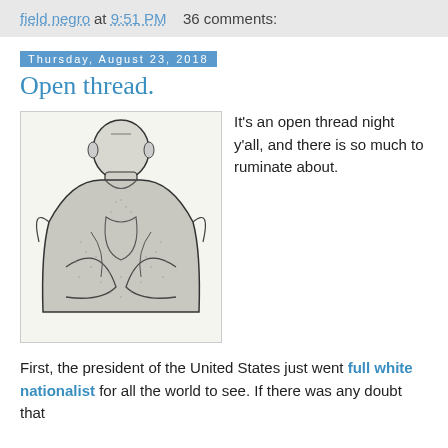field negro at 9:51 PM   36 comments:
Thursday, August 23, 2018
Open thread.
[Figure (illustration): Black and white sketch/illustration of a muscular human back viewed from behind, showing large back muscles and the back of the head, drawn in a stipple/line art style.]
It's an open thread night y'all, and there is so much to ruminate about.
First, the president of the United States just went full white nationalist for all the world to see. If there was any doubt that